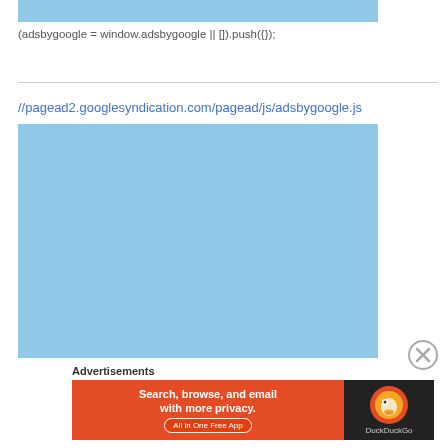[Figure (other): Light blue banner/ad placeholder at top]
(adsbygoogle = window.adsbygoogle || []).push({});
[Figure (other): Horizontal divider line]
//pagead2.googlesyndication.com/pagead/js/adsbygoogle.js
[Figure (other): Large light blue ad placeholder rectangle]
[Figure (other): Close/X button circle icon]
Advertisements
[Figure (other): DuckDuckGo advertisement banner: Search, browse, and email with more privacy. All in One Free App. DuckDuckGo logo on dark background.]